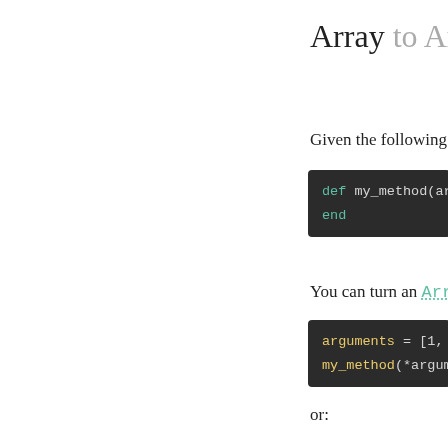Array to Arguments
Given the following m
[Figure (screenshot): Code block showing: def my_method(arg
end]
You can turn an Array
[Figure (screenshot): Code block showing: arguments = [1, 2
my_method(*argume]
or:
[Figure (screenshot): Code block showing: arguments = [2, 3
my_method(1, *arg]
Both are equivalent to